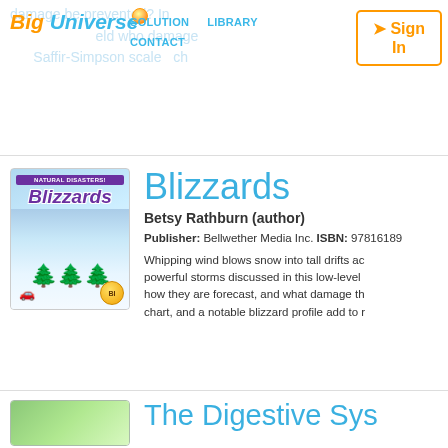Big Universe | SOLUTION | LIBRARY | CONTACT | Sign In
[Figure (screenshot): Book cover for 'Blizzards' showing snowy scene with trees and car, purple title text, Natural Disasters series badge]
Blizzards
Betsy Rathburn (author)
Publisher: Bellwether Media Inc. ISBN: 97816189...
Whipping wind blows snow into tall drifts ac... powerful storms discussed in this low-level... how they are forecast, and what damage th... chart, and a notable blizzard profile add to r...
The Digestive Sys...